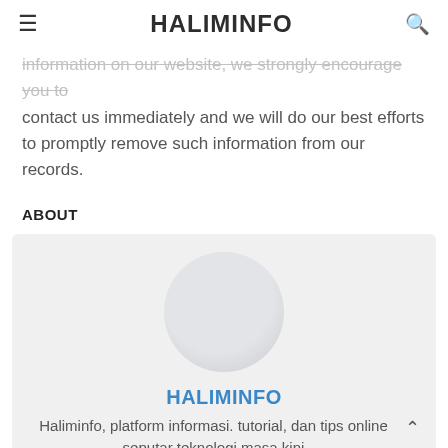HALIMINFO
information on our website, we strongly encourage you to contact us immediately and we will do our best efforts to promptly remove such information from our records.
ABOUT
[Figure (illustration): Circular avatar placeholder with light grey gradient background inside a light grey card]
HALIMINFO
Haliminfo, platform informasi. tutorial, dan tips online seputar teknologi masa kini